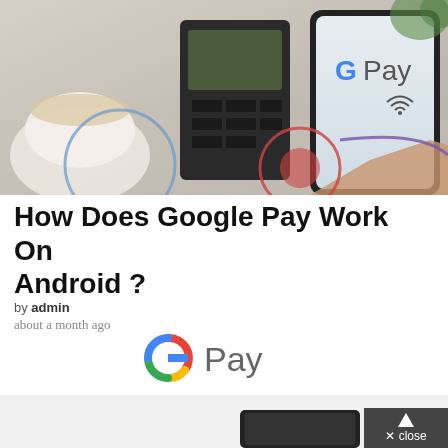[Figure (photo): Hero image showing a hand holding a smartphone displaying Google Pay logo near a payment terminal, with a coffee cup in the background, and colorful circular graphic overlays]
How Does Google Pay Work On Android ?
by admin
about a month ago
[Figure (logo): Google Pay logo — G icon in Google colors followed by 'Pay' text in gray]
[Figure (photo): Bottom partial image showing a card tap payment scene with NFC waves and a small icon]